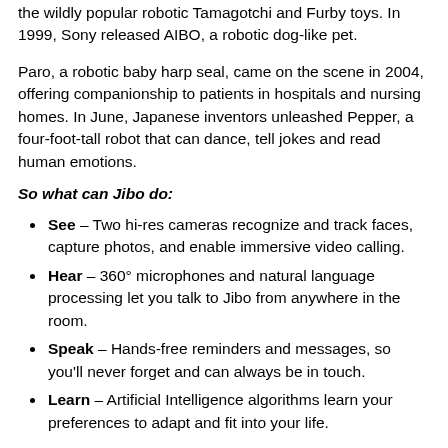the wildly popular robotic Tamagotchi and Furby toys. In 1999, Sony released AIBO, a robotic dog-like pet.
Paro, a robotic baby harp seal, came on the scene in 2004, offering companionship to patients in hospitals and nursing homes. In June, Japanese inventors unleashed Pepper, a four-foot-tall robot that can dance, tell jokes and read human emotions.
So what can Jibo do:
See – Two hi-res cameras recognize and track faces, capture photos, and enable immersive video calling.
Hear – 360° microphones and natural language processing let you talk to Jibo from anywhere in the room.
Speak – Hands-free reminders and messages, so you'll never forget and can always be in touch.
Learn – Artificial Intelligence algorithms learn your preferences to adapt and fit into your life.